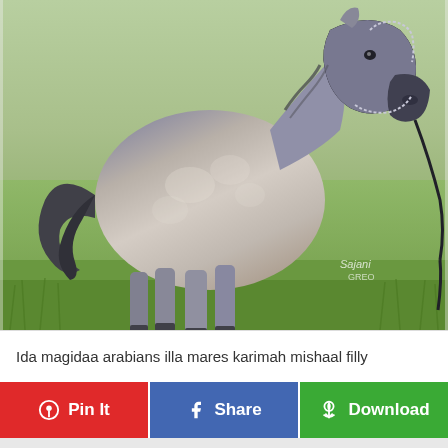[Figure (photo): A dapple grey Arabian horse standing in a grassy field, wearing a decorative show halter with chain lead rope. The horse is facing right. A photographer watermark reading 'Sajani' appears in the lower right area of the image.]
Ida magidaa arabians illa mares karimah mishaal filly
Pin It
Share
Download